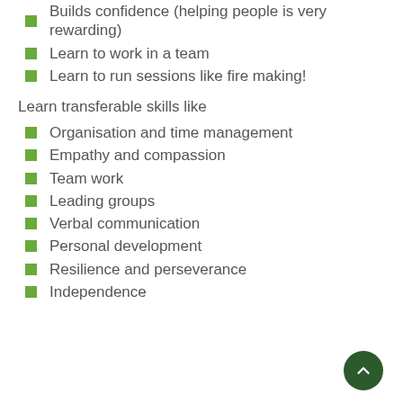Builds confidence (helping people is very rewarding)
Learn to work in a team
Learn to run sessions like fire making!
Learn transferable skills like
Organisation and time management
Empathy and compassion
Team work
Leading groups
Verbal communication
Personal development
Resilience and perseverance
Independence